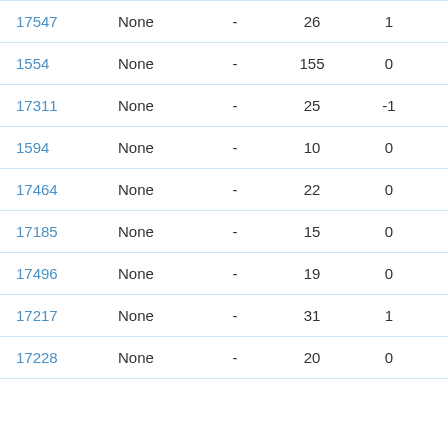| ID | Type | - | Col4 | Col5 | Status |
| --- | --- | --- | --- | --- | --- |
| 17547 | None | - | 26 | 1 | Manual |
| 1554 | None | - | 155 | 0 | Manual |
| 17311 | None | - | 25 | -1 | Manual |
| 1594 | None | - | 10 | 0 | Manual |
| 17464 | None | - | 22 | 0 | Manual |
| 17185 | None | - | 15 | 0 | Manual |
| 17496 | None | - | 19 | 0 | Manual |
| 17217 | None | - | 31 | 1 | Manual |
| 17228 | None | - | 20 | 0 | Manual |